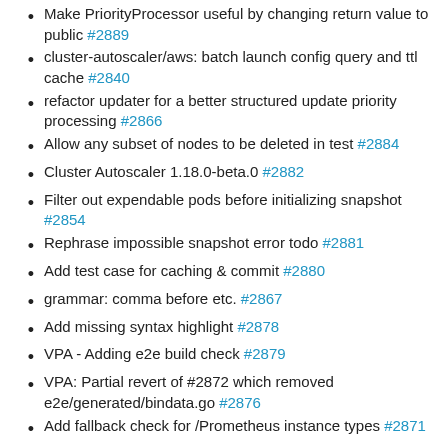Make PriorityProcessor useful by changing return value to public #2889
cluster-autoscaler/aws: batch launch config query and ttl cache #2840
refactor updater for a better structured update priority processing #2866
Allow any subset of nodes to be deleted in test #2884
Cluster Autoscaler 1.18.0-beta.0 #2882
Filter out expendable pods before initializing snapshot #2854
Rephrase impossible snapshot error todo #2881
Add test case for caching & commit #2880
grammar: comma before etc. #2867
Add missing syntax highlight #2878
VPA - Adding e2e build check #2879
VPA: Partial revert of #2872 which removed e2e/generated/bindata.go #2876
Add fallback check for /Prometheus instance types #2871